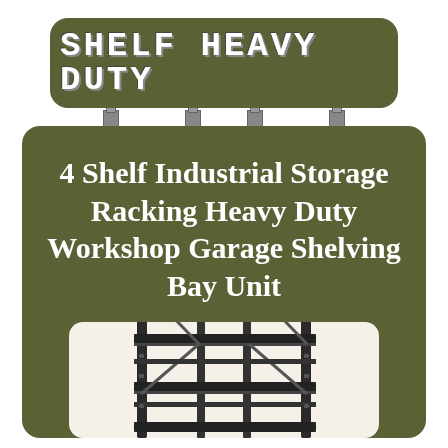SHELF HEAVY DUTY
4 Shelf Industrial Storage Racking Heavy Duty Workshop Garage Shelving Bay Unit
[Figure (photo): Black metal 4-shelf heavy duty industrial storage racking unit]